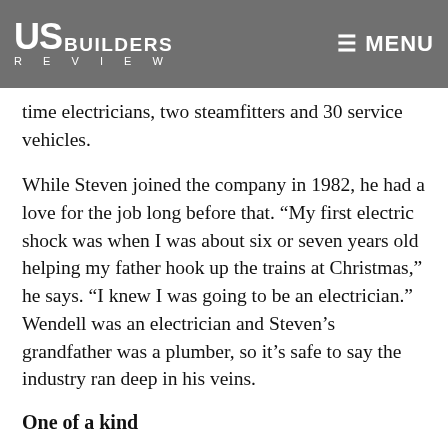US BUILDERS REVIEW | MENU
In order to maintain such an expansive list of services, DECА had assembled a crew of 60 full-time electricians, two steamfitters and 30 service vehicles.
While Steven joined the company in 1982, he had a love for the job long before that. “My first electric shock was when I was about six or seven years old helping my father hook up the trains at Christmas,” he says. “I knew I was going to be an electrician.” Wendell was an electrician and Steven’s grandfather was a plumber, so it’s safe to say the industry ran deep in his veins.
One of a kind